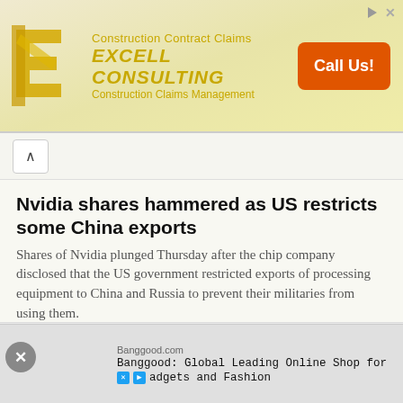[Figure (other): Advertisement banner for Excell Consulting with yellow/gold logo, company name in italic bold, 'Construction Contract Claims' and 'Construction Claims Management' taglines, and an orange 'Call Us!' button]
Nvidia shares hammered as US restricts some China exports
Shares of Nvidia plunged Thursday after the chip company disclosed that the US government restricted exports of processing equipment to China and Russia to prevent their militaries from using them.
Starbucks names outgoing Reckitt leader as next CEO
Starbucks named Laxman Narasimhan, a veteran of PepsiCo and other consumer brands, as its next chief
[Figure (other): Bottom advertisement for Banggood.com: 'Banggood: Global Leading Online Shop for Gadgets and Fashion' with social media icons]